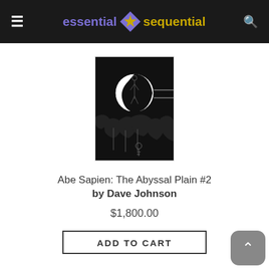essential sequential
[Figure (illustration): Black and white comic book cover art showing a dark, atmospheric scene with a figure in a circular spotlight against a dark background with abstract shapes below]
Abe Sapien: The Abyssal Plain #2 by Dave Johnson
$1,800.00
ADD TO CART